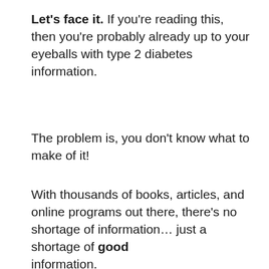Let's face it. If you're reading this, then you're probably already up to your eyeballs with type 2 diabetes information.
The problem is, you don't know what to make of it!
With thousands of books, articles, and online programs out there, there's no shortage of information… just a shortage of good information.